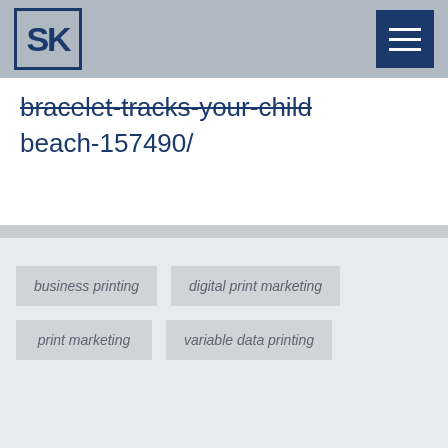[Figure (logo): SK logo with square bracket border in navy blue]
bracelet-tracks-your-child-beach-157490/
business printing
digital print marketing
print marketing
variable data printing